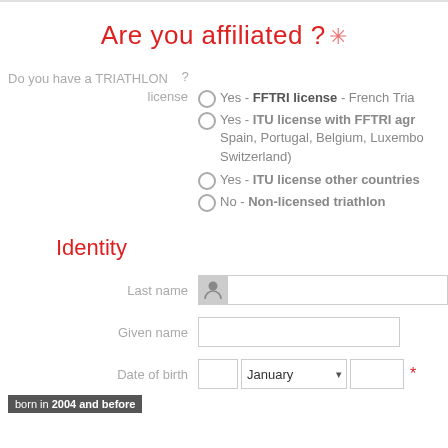Are you affiliated ? *
Do you have a TRIATHLON ? license
Yes - FFTRI license - French Tria...
Yes - ITU license with FFTRI agr... Spain, Portugal, Belgium, Luxembo... Switzerland)
Yes - ITU license other countries
No - Non-licensed triathlon
Identity
Last name
Given name
Date of birth
born in 2004 and before